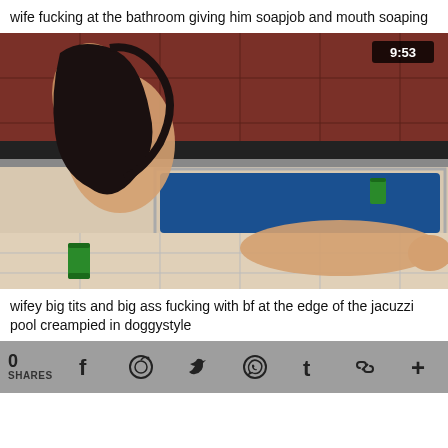wife fucking at the bathroom giving him soapjob and mouth soaping
[Figure (photo): Video thumbnail showing two people in a bathroom/jacuzzi setting. Timestamp 9:53 shown in top right corner.]
wifey big tits and big ass fucking with bf at the edge of the jacuzzi pool creampied in doggystyle
0 SHARES  f  reddit  twitter  whatsapp  tumblr  link  +